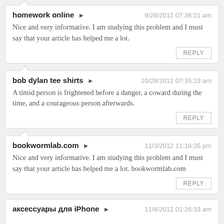homework online ➔ — 9/26/2012 07:36:21 am
Nice and very informative. I am studying this problem and I must say that your article has helped me a lot.
REPLY
bob dylan tee shirts ➔ — 10/29/2012 07:35:23 am
A timid person is frightened before a danger, a coward during the time, and a courageous person afterwards.
REPLY
bookwormlab.com ➔ — 11/3/2012 11:18:35 pm
Nice and very informative. I am studying this problem and I must say that your article has helped me a lot. bookwormlab.com
REPLY
аксессуары для iPhone ➔ — 11/4/2012 01:26:33 am